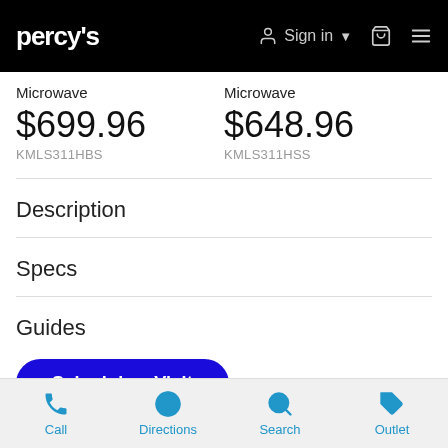PERCY'S  Sign in  [cart]  [menu]
Microwave
$699.96
KMLS311HBS
Microwave
$648.96
KMLS311HSS
Description
Specs
Guides
Schedule a Visit
Reviews
Call  Directions  Search  Outlet